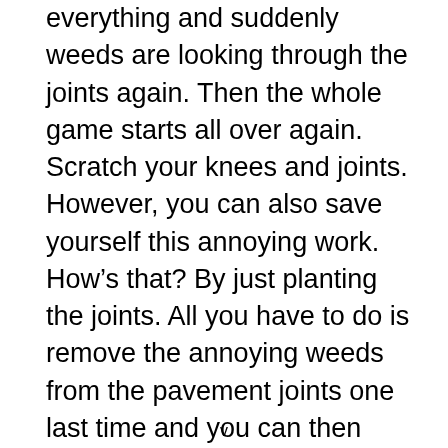everything and suddenly weeds are looking through the joints again. Then the whole game starts all over again. Scratch your knees and joints. However, you can also save yourself this annoying work. How’s that? By just planting the joints. All you have to do is remove the annoying weeds from the pavement joints one last time and you can then decorate them with flat, sturdy plants. The practical and optical result is definitely something to be proud of!
v